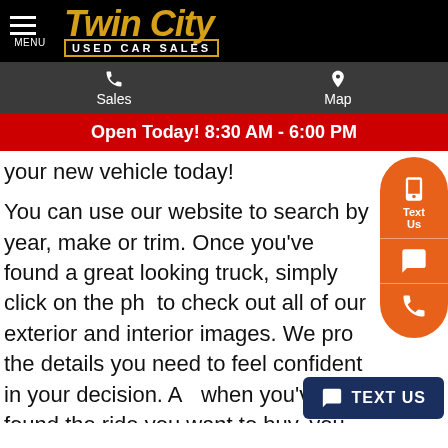Twin City USED CAR SALES
Sales | Map
Open Today! 8:30 AM - 6:00 PM
your new vehicle today!
You can use our website to search by year, make or trim. Once you've found a great looking truck, simply click on the photos to check out all of our exterior and interior images. We provide all the details you need to feel confident in your decision. And when you've found the ride you want to buy, you can even value your trade right online without ever leaving your home. That's the kind of service our Rainsville, AL neighbors can expect at Twin City Used Car Sales.
As your late-model used truck dealership of choice, you can rely on Twin City Used Car Sales for a wide selection of great